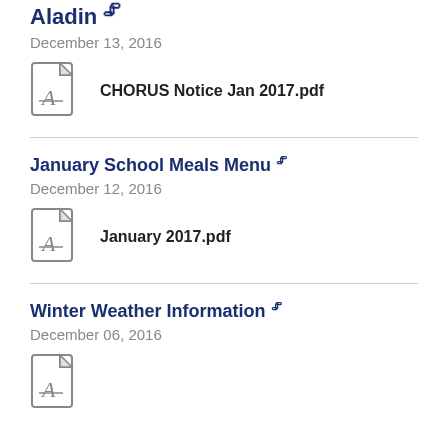Aladin
December 13, 2016
CHORUS Notice Jan 2017.pdf
January School Meals Menu
December 12, 2016
January 2017.pdf
Winter Weather Information
December 06, 2016